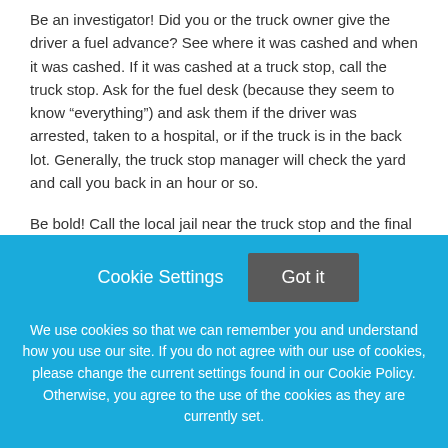Be an investigator! Did you or the truck owner give the driver a fuel advance? See where it was cashed and when it was cashed. If it was cashed at a truck stop, call the truck stop. Ask for the fuel desk (because they seem to know “everything”) and ask them if the driver was arrested, taken to a hospital, or if the truck is in the back lot. Generally, the truck stop manager will check the yard and call you back in an hour or so.
Be bold! Call the local jail near the truck stop and the final destination and see if your driver is a guest of the county. (I could tell you stories that would curl your hair!) All you generally need is their name and
Cookie Settings
Got it
We use cookies so that we can remember you and understand how you use our site. If you do not agree with our use of cookies, please change the current settings found in our Cookie Policy. Otherwise, you agree to the use of the cookies as they are currently set.